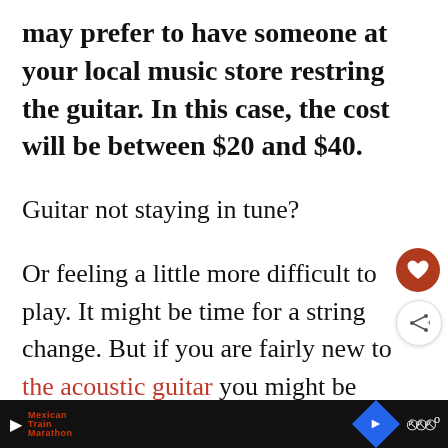may prefer to have someone at your local music store restring the guitar. In this case, the cost will be between $20 and $40.
Guitar not staying in tune?
Or feeling a little more difficult to play. It might be time for a string change. But if you are fairly new to the acoustic guitar you might be wondering how much it costs to restring your guitar? In the following article,
[Ad bar with media player controls]